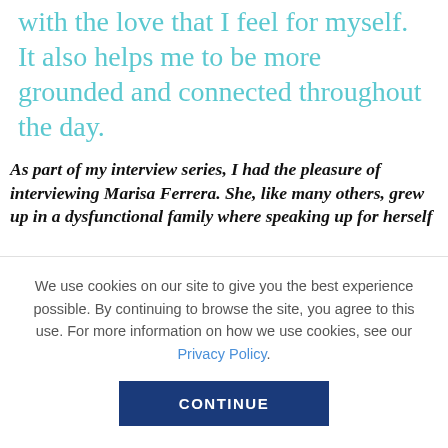with the love that I feel for myself. It also helps me to be more grounded and connected throughout the day.
As part of my interview series, I had the pleasure of interviewing Marisa Ferrera. She, like many others, grew up in a dysfunctional family where speaking up for herself
We use cookies on our site to give you the best experience possible. By continuing to browse the site, you agree to this use. For more information on how we use cookies, see our Privacy Policy.
CONTINUE